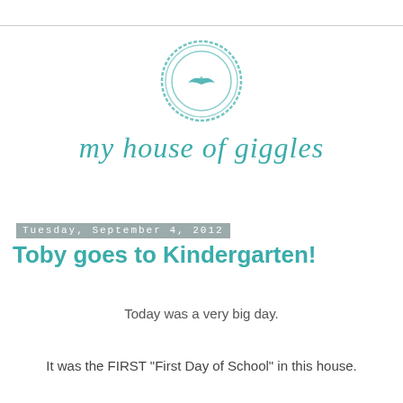[Figure (logo): my house of giggles blog logo: teal circular stamp with bird in flight, italic serif text 'my house of giggles' in teal below]
Tuesday, September 4, 2012
Toby goes to Kindergarten!
Today was a very big day.
It was the FIRST "First Day of School" in this house.